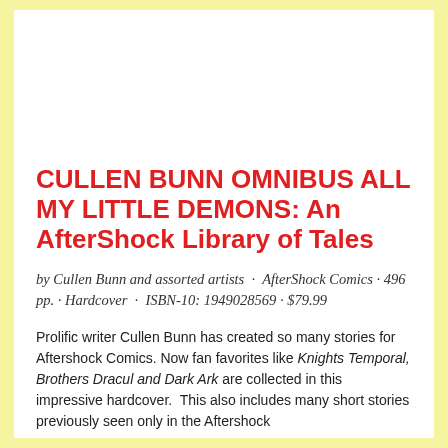CULLEN BUNN OMNIBUS ALL MY LITTLE DEMONS: An AfterShock Library of Tales
by Cullen Bunn and assorted artists · AfterShock Comics · 496 pp. · Hardcover · ISBN-10: 1949028569 · $79.99
Prolific writer Cullen Bunn has created so many stories for Aftershock Comics. Now fan favorites like Knights Temporal, Brothers Dracul and Dark Ark are collected in this impressive hardcover. This also includes many short stories previously seen only in the Aftershock